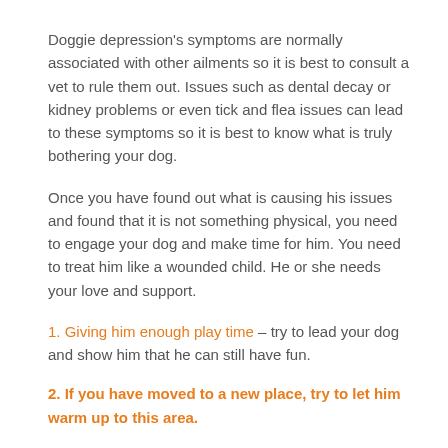Doggie depression's symptoms are normally associated with other ailments so it is best to consult a vet to rule them out. Issues such as dental decay or kidney problems or even tick and flea issues can lead to these symptoms so it is best to know what is truly bothering your dog.
Once you have found out what is causing his issues and found that it is not something physical, you need to engage your dog and make time for him. You need to treat him like a wounded child. He or she needs your love and support.
1. Giving him enough play time – try to lead your dog and show him that he can still have fun.
2. If you have moved to a new place, try to let him warm up to this area.
3. If you have a new dog, make sure that you show that you still love the former dog as much as the new one.